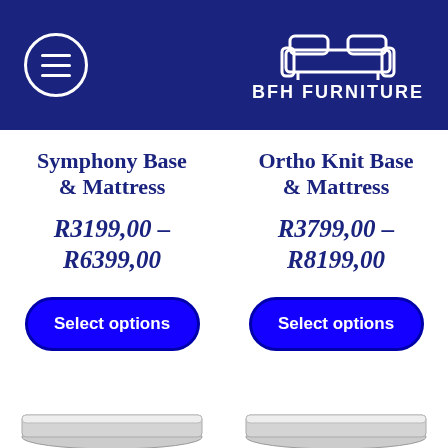[Figure (logo): BFH Furniture logo with sofa icon and text BFH FURNITURE on dark navy blue header bar, with hamburger menu icon on the left]
Symphony Base & Mattress
R3199,00 – R6399,00
Select options
Ortho Knit Base & Mattress
R3799,00 – R8199,00
Select options